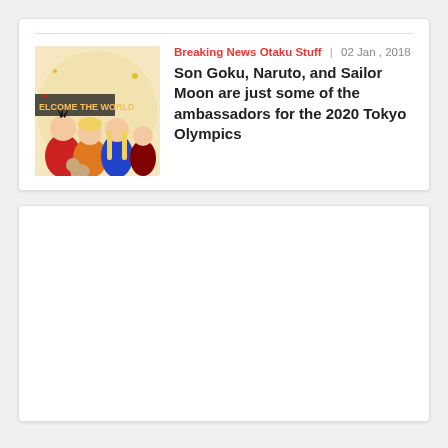[Figure (illustration): Thumbnail image showing anime characters (Son Goku, Naruto, Sailor Moon and others) with text 'WELCOME THE WORLD' on a colorful background]
Breaking News Otaku Stuff | 02 Jan , 2018
Son Goku, Naruto, and Sailor Moon are just some of the ambassadors for the 2020 Tokyo Olympics